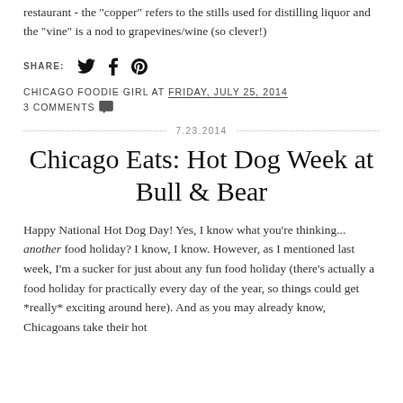restaurant - the "copper" refers to the stills used for distilling liquor and the "vine" is a nod to grapevines/wine (so clever!)
SHARE: [Twitter] [Facebook] [Pinterest]
CHICAGO FOODIE GIRL AT FRIDAY, JULY 25, 2014
3 COMMENTS
7.23.2014
Chicago Eats: Hot Dog Week at Bull & Bear
Happy National Hot Dog Day! Yes, I know what you're thinking... another food holiday? I know, I know. However, as I mentioned last week, I'm a sucker for just about any fun food holiday (there's actually a food holiday for practically every day of the year, so things could get *really* exciting around here). And as you may already know, Chicagoans take their hot dogs very seriously...